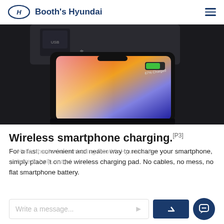Booth's Hyundai
[Figure (photo): A smartphone placed on a Hyundai car wireless charging pad, showing 67% charged with a green battery indicator. Dashboard shows 12V 180W power outlet and USB port.]
Wireless smartphone charging.[P3]
For a fast, convenient and neater way to recharge your smartphone, simply place it on the wireless charging pad. No cables, no mess, no flat smartphone battery.